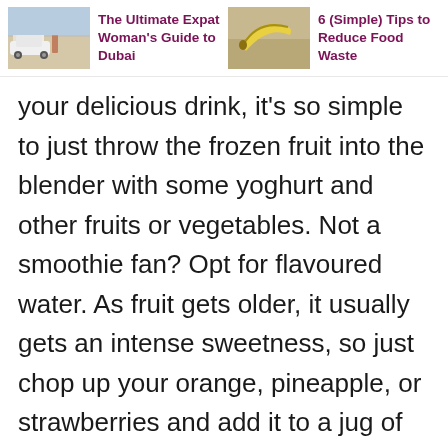[Figure (photo): Thumbnail photo of a woman near a white car, Dubai scene]
The Ultimate Expat Woman's Guide to Dubai
[Figure (photo): Thumbnail photo of a banana on a surface]
6 (Simple) Tips to Reduce Food Waste
your delicious drink, it's so simple to just throw the frozen fruit into the blender with some yoghurt and other fruits or vegetables. Not a smoothie fan? Opt for flavoured water. As fruit gets older, it usually gets an intense sweetness, so just chop up your orange, pineapple, or strawberries and add it to a jug of water for a more exciting way to stay hydrated. Bonus: if you leave it in the fridge overnight, it'll infuse with an even stronger flavour.